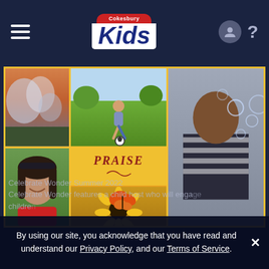Cokesbury Kids — navigation header with hamburger menu, logo, user icon, help icon
[Figure (photo): Collage of children photos: child playing soccer, stormy sky/cloud, girl blowing bubbles, smiling girl portrait, PRAISE text on yellow background, toddler on playground slide, monarch butterfly on yellow flowers]
Celebrate Wonder Summer 2022
Celebrate Wonder features a child host who will engage children
By using our site, you acknowledge that you have read and understand our Privacy Policy, and our Terms of Service.  ✕